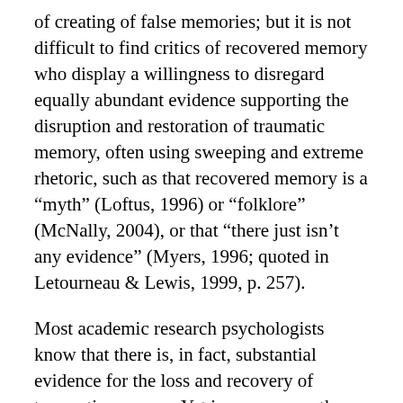of creating of false memories; but it is not difficult to find critics of recovered memory who display a willingness to disregard equally abundant evidence supporting the disruption and restoration of traumatic memory, often using sweeping and extreme rhetoric, such as that recovered memory is a “myth” (Loftus, 1996) or “folklore” (McNally, 2004), or that “there just isn’t any evidence” (Myers, 1996; quoted in Letourneau & Lewis, 1999, p. 257).
Most academic research psychologists know that there is, in fact, substantial evidence for the loss and recovery of traumatic memory. Yet in some cases they or their colleagues display a minimizing and evasive attitude toward the data. I am not speaking here about an appropriate scientific prudence or caution, but rather about an acquiescence to a pervasive and disdainful culture of dismissiveness within which complex social issues